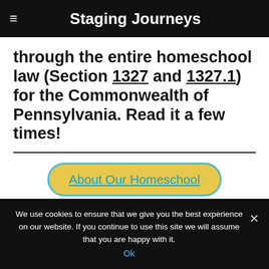Staging Journeys
through the entire homeschool law (Section 1327 and 1327.1) for the Commonwealth of Pennsylvania. Read it a few times!
About Our Homeschool
We use cookies to ensure that we give you the best experience on our website. If you continue to use this site we will assume that you are happy with it. Ok